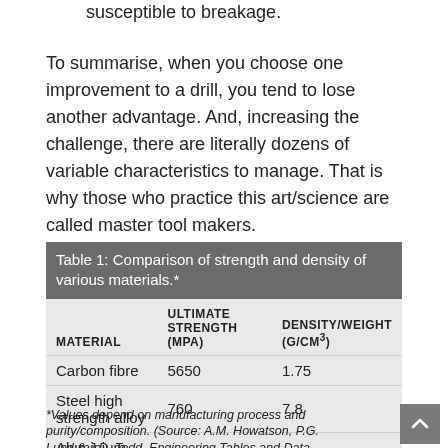susceptible to breakage.
To summarise, when you choose one improvement to a drill, you tend to lose another advantage. And, increasing the challenge, there are literally dozens of variable characteristics to manage. That is why those who practice this art/science are called master tool makers.
| MATERIAL | ULTIMATE STRENGTH (MPA) | DENSITY/WEIGHT (G/CM³) |
| --- | --- | --- |
| Carbon fibre | 5650 | 1.75 |
| Steel high strength alloy | 760 | 7.8 |
| Aluminium alloy | 455 | 2.7 |
*Values depend on manufacturing process and purity/composition. (Source: A.M. Howatson, P.G. Lund & J.D. Todd, Engineering Tables and Data, p.41.)